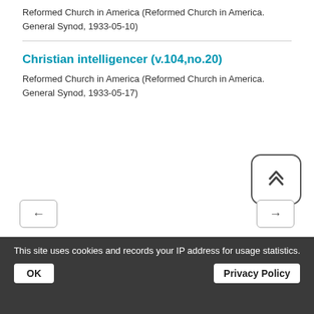Reformed Church in America (Reformed Church in America. General Synod, 1933-05-10)
Christian intelligencer (v.104,no.20)
Reformed Church in America (Reformed Church in America. General Synod, 1933-05-17)
DSpace software
copyright © 2002-2022
DuraSpace
Theme by ATMIRE
This site uses cookies and records your IP address for usage statistics.